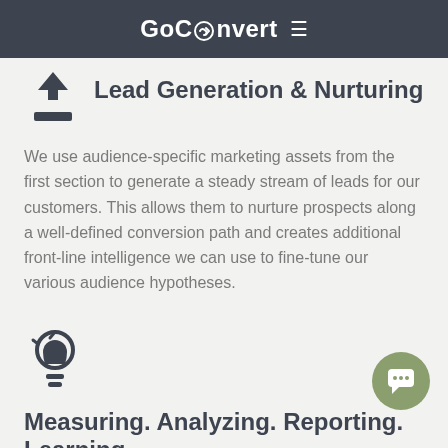GoConvert ≡
Lead Generation & Nurturing
We use audience-specific marketing assets from the first section to generate a steady stream of leads for our customers. This allows them to nurture prospects along a well-defined conversion path and creates additional front-line intelligence we can use to fine-tune our various audience hypotheses.
[Figure (illustration): Lightbulb icon in dark gray]
Measuring. Analyzing. Reporting. Learning